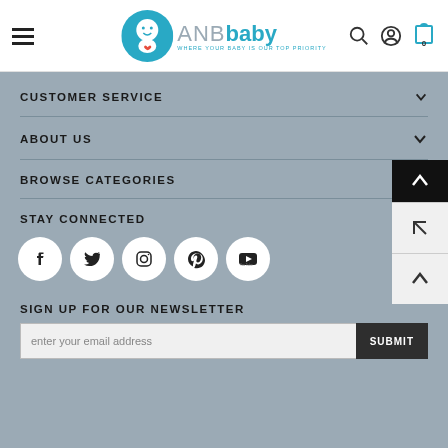[Figure (logo): ANBbaby logo with teal baby icon and text 'WHERE YOUR BABY IS OUR TOP PRIORITY']
CUSTOMER SERVICE
ABOUT US
BROWSE CATEGORIES
STAY CONNECTED
[Figure (infographic): Social media icons: Facebook, Twitter, Instagram, Pinterest, YouTube in white circles]
SIGN UP FOR OUR NEWSLETTER
enter your email address
SUBMIT